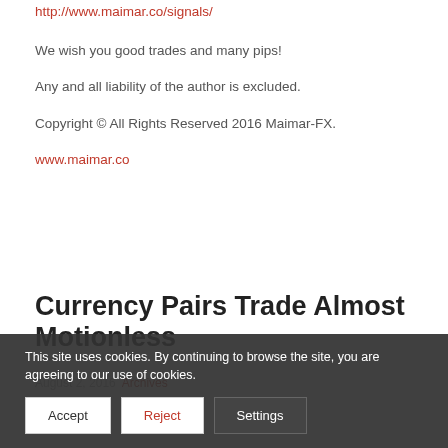http://www.maimar.co/signals/
We wish you good trades and many pips!
Any and all liability of the author is excluded.
Copyright © All Rights Reserved 2016 Maimar-FX.
www.maimar.co
Currency Pairs Trade Almost Motionless
August 2, 2016 Archives
Dear Trader,